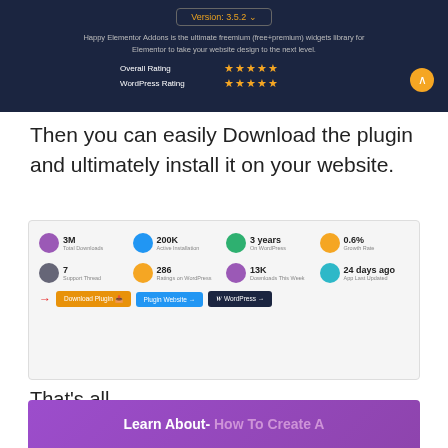[Figure (screenshot): Top dark navy banner showing Version 3.5.2 button, a description of Happy Elementor Addons as freemium widgets library, and Overall Rating / WordPress Rating both shown as 5 gold stars, with an orange back button.]
Then you can easily Download the plugin and ultimately install it on your website.
[Figure (screenshot): Screenshot of a plugin stats page showing: 3M Total Downloads, 200K Active Installation, 3 years On WordPress, 0.6% Growth Rate, 7 Support Thread, 286 Ratings on WordPress, 13K Downloads This Week, 24 days ago App Last Updated. Below is a red arrow pointing to an orange 'Download Plugin' button, a blue 'Plugin Website' button, and a dark 'WordPress' button.]
That's all.
[Figure (screenshot): Bottom purple banner with text: Learn About- How To Create A]